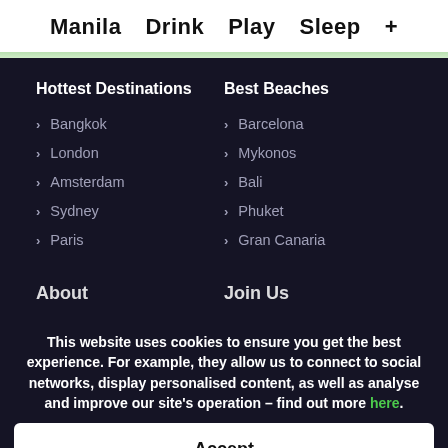Manila   Drink   Play   Sleep   +
Hottest Destinations
Best Beaches
Bangkok
London
Amsterdam
Sydney
Paris
Barcelona
Mykonos
Bali
Phuket
Gran Canaria
About
Join Us
This website uses cookies to ensure you get the best experience. For example, they allow us to connect to social networks, display personalised content, as well as analyse and improve our site's operation – find out more here.
Accept